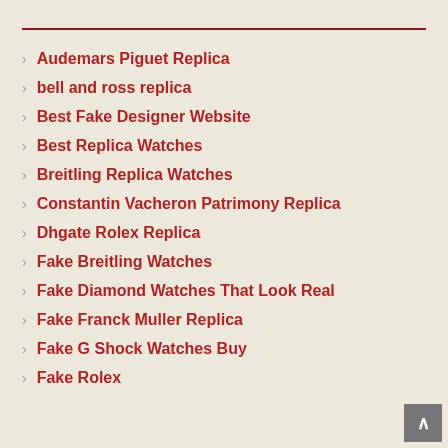Audemars Piguet Replica
bell and ross replica
Best Fake Designer Website
Best Replica Watches
Breitling Replica Watches
Constantin Vacheron Patrimony Replica
Dhgate Rolex Replica
Fake Breitling Watches
Fake Diamond Watches That Look Real
Fake Franck Muller Replica
Fake G Shock Watches Buy
Fake Rolex